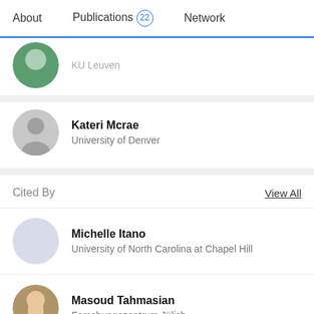About | Publications 22 | Network
KU Leuven
Kateri Mcrae
University of Denver
Cited By
View All
Michelle Itano
University of North Carolina at Chapel Hill
Masoud Tahmasian
Forschungszentrum Jülich
Anna Gerlicher
University of Amsterdam
Olavo B Amaral